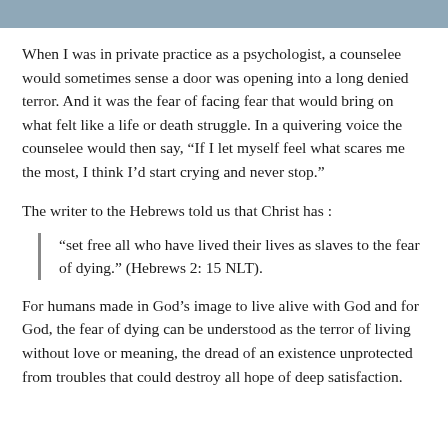[Figure (photo): Partial image strip at top of page showing a nature or landscape scene, only a thin sliver visible.]
When I was in private practice as a psychologist, a counselee would sometimes sense a door was opening into a long denied terror. And it was the fear of facing fear that would bring on what felt like a life or death struggle. In a quivering voice the counselee would then say, “If I let myself feel what scares me the most, I think I’d start crying and never stop.”
The writer to the Hebrews told us that Christ has :
“set free all who have lived their lives as slaves to the fear of dying.” (Hebrews 2: 15 NLT).
For humans made in God’s image to live alive with God and for God, the fear of dying can be understood as the terror of living without love or meaning, the dread of an existence unprotected from troubles that could destroy all hope of deep satisfaction.